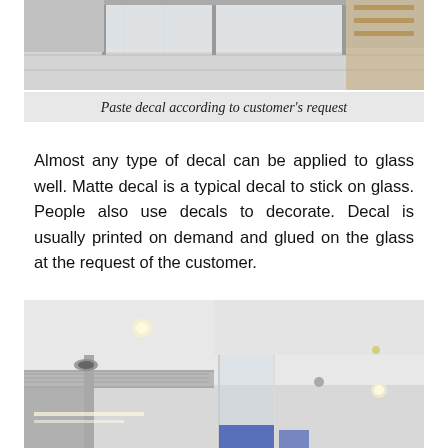[Figure (photo): Photo of glass door panels with white tile floor, viewed from inside]
Paste decal according to customer's request
Almost any type of decal can be applied to glass well. Matte decal is a typical decal to stick on glass. People also use decals to decorate. Decal is usually printed on demand and glued on the glass at the request of the customer.
[Figure (photo): Interior photo of a commercial space with glass partition walls, ceiling lights, and air conditioning vents]